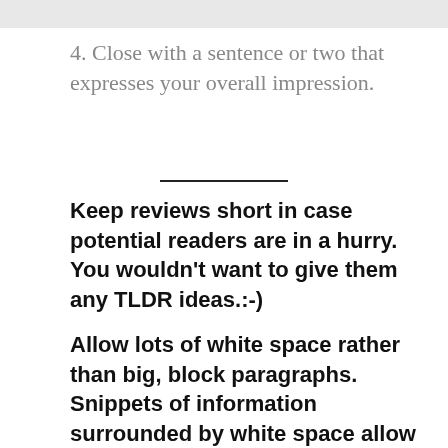4. Close with a sentence or two that expresses your overall impression.
Keep reviews short in case potential readers are in a hurry. You wouldn't want to give them any TLDR ideas.:-)
Allow lots of white space rather than big, block paragraphs. Snippets of information surrounded by white space allow people to easily scan your review.